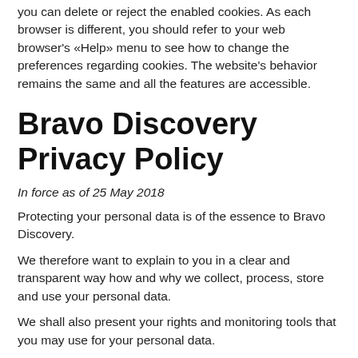you can delete or reject the enabled cookies. As each browser is different, you should refer to your web browser's «Help» menu to see how to change the preferences regarding cookies. The website's behavior remains the same and all the features are accessible.
Bravo Discovery Privacy Policy
In force as of 25 May 2018
Protecting your personal data is of the essence to Bravo Discovery.
We therefore want to explain to you in a clear and transparent way how and why we collect, process, store and use your personal data.
We shall also present your rights and monitoring tools that you may use for your personal data.